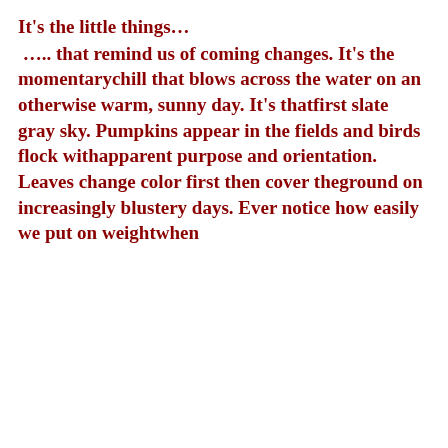It's the little things…
….. that remind us of coming changes. It's the momentarychill that blows across the water on an otherwise warm, sunny day. It's thatfirst slate gray sky. Pumpkins appear in the fields and birds flock withapparent purpose and orientation. Leaves change color first then cover theground on increasingly blustery days. Ever notice how easily we put on weightwhen